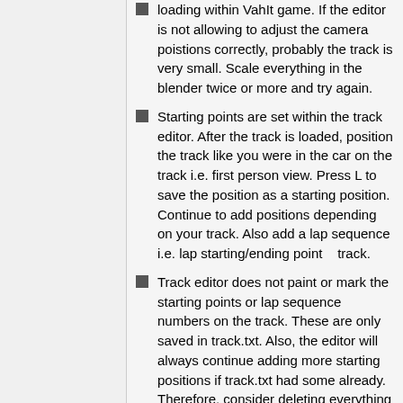loading within VahIt game. If the editor is not allowing to adjust the camera poistions correctly, probably the track is very small. Scale everything in the blender twice or more and try again.
Starting points are set within the track editor. After the track is loaded, position the track like you were in the car on the track i.e. first person view. Press L to save the position as a starting position. Continue to add positions depending on your track. Also add a lap sequence i.e. lap starting/ending point   track.
Track editor does not paint or mark the starting points or lap sequence numbers on the track. These are only saved in track.txt. Also, the editor will always continue adding more starting positions if track.txt had some already. Therefore, consider deleting everything in track.txt if you wish to reedit the positions.
A .joe file gets created when the track has a texture.
The export-joe script should be loaded